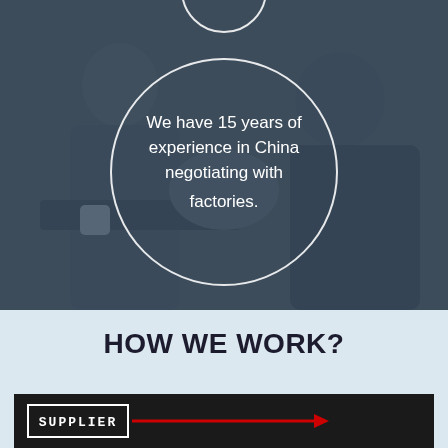[Figure (photo): Dark blue-tinted photo of business people sitting at a table negotiating, with a large white circle overlay containing text about 15 years of experience, and a partial circle at the top]
We have 15 years of experience in China negotiating with factories.
HOW WE WORK?
[Figure (infographic): Black banner showing a white-bordered box labeled SUPPLIER with a red arrow pointing right, indicating a process flow diagram]